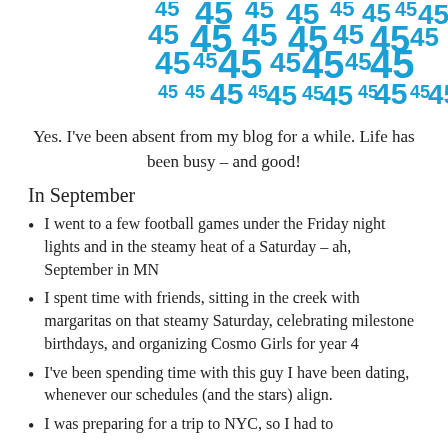[Figure (illustration): Decorative cluster of the number 45 in various sizes and shades of blue, arranged in a scattered pattern across the top portion of the page.]
Yes.  I've been absent from my blog for a while.  Life has been busy – and good!
In September
I went to a few football games under the Friday night lights and in the steamy heat of a Saturday – ah, September in MN
I spent time with friends, sitting in the creek with margaritas on that steamy Saturday, celebrating milestone birthdays, and organizing Cosmo Girls for year 4
I've been spending time with this guy I have been dating, whenever our schedules (and the stars) align.
I was preparing for a trip to NYC, so I had to